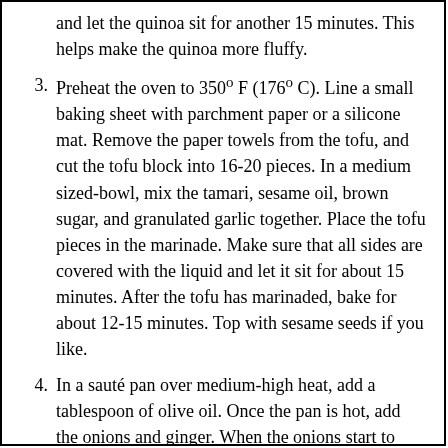and let the quinoa sit for another 15 minutes. This helps make the quinoa more fluffy.
3. Preheat the oven to 350º F (176º C). Line a small baking sheet with parchment paper or a silicone mat. Remove the paper towels from the tofu, and cut the tofu block into 16-20 pieces. In a medium sized-bowl, mix the tamari, sesame oil, brown sugar, and granulated garlic together. Place the tofu pieces in the marinade. Make sure that all sides are covered with the liquid and let it sit for about 15 minutes. After the tofu has marinaded, bake for about 12-15 minutes. Top with sesame seeds if you like.
4. In a sauté pan over medium-high heat, add a tablespoon of olive oil. Once the pan is hot, add the onions and ginger. When the onions start to brown, add the sliced zucchini, summer squash and red pepper. Cook the vegetables for a few minutes and add the shredded